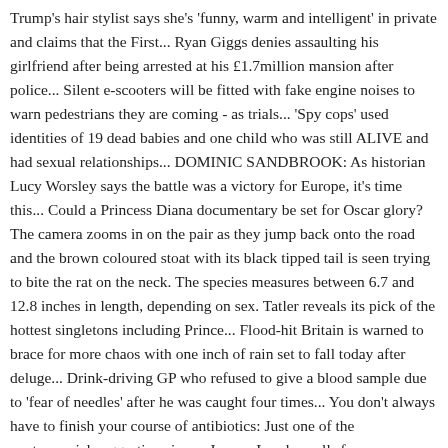Trump's hair stylist says she's 'funny, warm and intelligent' in private and claims that the First... Ryan Giggs denies assaulting his girlfriend after being arrested at his £1.7million mansion after police... Silent e-scooters will be fitted with fake engine noises to warn pedestrians they are coming - as trials... 'Spy cops' used identities of 19 dead babies and one child who was still ALIVE and had sexual relationships... DOMINIC SANDBROOK: As historian Lucy Worsley says the battle was a victory for Europe, it's time this... Could a Princess Diana documentary be set for Oscar glory? The camera zooms in on the pair as they jump back onto the road and the brown coloured stoat with its black tipped tail is seen trying to bite the rat on the neck. The species measures between 6.7 and 12.8 inches in length, depending on sex. Tatler reveals its pick of the hottest singletons including Prince... Flood-hit Britain is warned to brace for more chaos with one inch of rain set to fall today after deluge... Drink-driving GP who refused to give a blood sample due to 'fear of needles' after he was caught four times... You don't always have to finish your course of antibiotics: Just one of the controversial suggestions in a... Joanna Lumley calls for